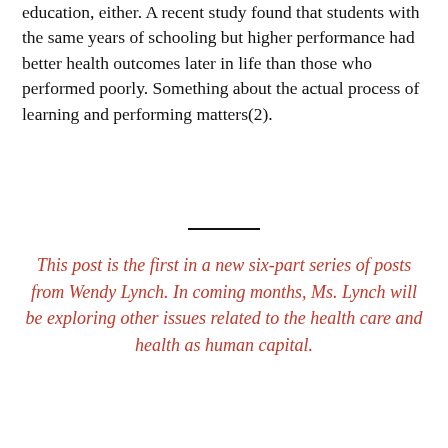education, either. A recent study found that students with the same years of schooling but higher performance had better health outcomes later in life than those who performed poorly. Something about the actual process of learning and performing matters(2).
This post is the first in a new six-part series of posts from Wendy Lynch. In coming months, Ms. Lynch will be exploring other issues related to the health care and health as human capital.
Just as startling are data from the “Nun study” which has shown that the quality of one’s thinking and writing early in adult life correlates with cognitive ability